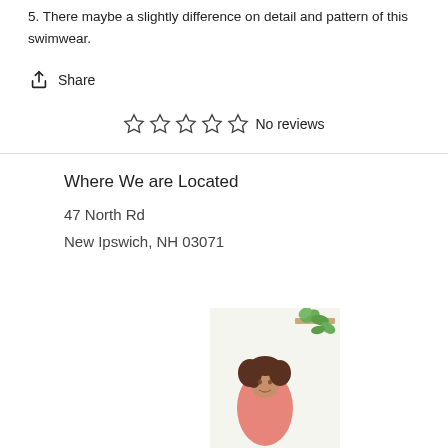5. There maybe a slightly difference on detail and pattern of this swimwear.
Share
☆ ☆ ☆ ☆ ☆ No reviews
Where We are Located
47 North Rd
New Ipswich, NH 03071
[Figure (photo): Woman with curly hair wearing pink, sitting near a plant on a shelf, white background.]